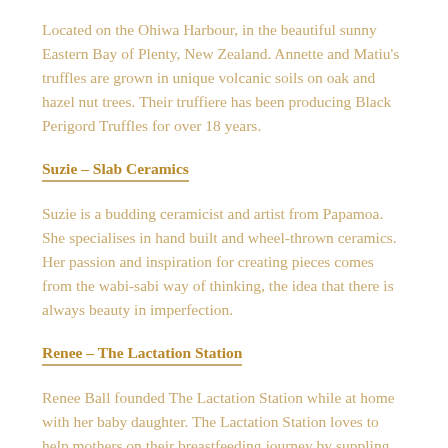Located on the Ohiwa Harbour, in the beautiful sunny Eastern Bay of Plenty, New Zealand. Annette and Matiu's truffles are grown in unique volcanic soils on oak and hazel nut trees. Their truffiere has been producing Black Perigord Truffles for over 18 years.
Suzie – Slab Ceramics
Suzie is a budding ceramicist and artist from Papamoa. She specialises in hand built and wheel-thrown ceramics. Her passion and inspiration for creating pieces comes from the wabi-sabi way of thinking, the idea that there is always beauty in imperfection.
Renee – The Lactation Station
Renee Ball founded The Lactation Station while at home with her baby daughter. The Lactation Station loves to help mothers on their breastfeeding journey by suppling delicious cookies that aid in increasing milk supply, as well as tasting great.